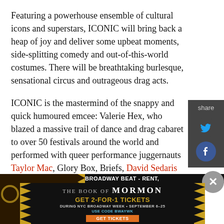Featuring a powerhouse ensemble of cultural icons and superstars, ICONIC will bring back a heap of joy and deliver some upbeat moments, side-splitting comedy and out-of-this-world costumes. There will be breathtaking burlesque, sensational circus and outrageous drag acts.
ICONIC is the mastermind of the snappy and quick humoured emcee: Valerie Hex, who blazed a massive trail of dance and drag cabaret to over 50 festivals around the world and performed with queer performance juggernauts Taylor Mac, Glory Box, Briefs, David Sedaris and many more.
[Figure (other): Dark sidebar with share label, Twitter bird icon in cyan, and Facebook icon in blue]
[Figure (other): Advertisement banner for The Book of Mormon musical - GET 2-FOR-1 TICKETS DURING NYC BROADWAY WEEK SEPTEMBER 6-25 USE CODE BWAYWK GET TICKETS - gold decorative borders with dark background]